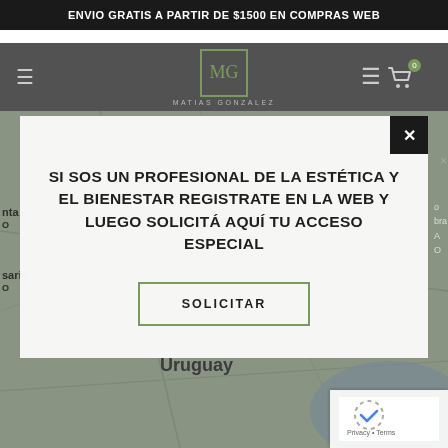ENVIO GRATIS A PARTIR DE $1500 EN COMPRAS WEB
[Figure (screenshot): Website header/navbar with hamburger menu, MG Matias Gonzalez logo in green-bordered square, and shopping cart icon with green badge showing 0]
[Figure (map): Google Maps background showing Uruguay and surrounding region]
SI SOS UN PROFESIONAL DE LA ESTÉTICA Y EL BIENESTAR REGISTRATE EN LA WEB Y LUEGO SOLICITÁ AQUÍ TU ACCESO ESPECIAL
SOLICITAR